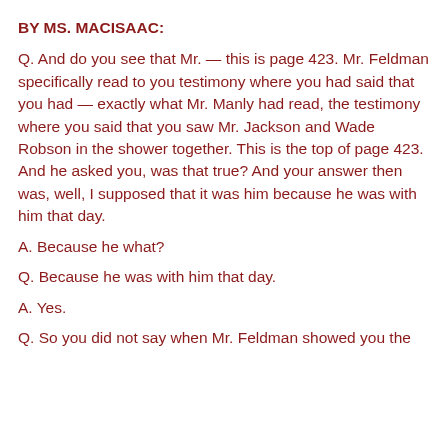BY MS. MACISAAC:
Q. And do you see that Mr. — this is page 423. Mr. Feldman specifically read to you testimony where you had said that you had — exactly what Mr. Manly had read, the testimony where you said that you saw Mr. Jackson and Wade Robson in the shower together. This is the top of page 423. And he asked you, was that true? And your answer then was, well, I supposed that it was him because he was with him that day.
A. Because he what?
Q. Because he was with him that day.
A. Yes.
Q. So you did not say when Mr. Feldman showed you the